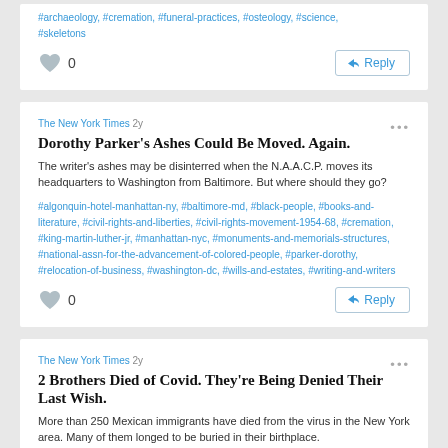#archaeology, #cremation, #funeral-practices, #osteology, #science, #skeletons
0
Reply
The New York Times 2y
Dorothy Parker's Ashes Could Be Moved. Again.
The writer's ashes may be disinterred when the N.A.A.C.P. moves its headquarters to Washington from Baltimore. But where should they go?
#algonquin-hotel-manhattan-ny, #baltimore-md, #black-people, #books-and-literature, #civil-rights-and-liberties, #civil-rights-movement-1954-68, #cremation, #king-martin-luther-jr, #manhattan-nyc, #monuments-and-memorials-structures, #national-assn-for-the-advancement-of-colored-people, #parker-dorothy, #relocation-of-business, #washington-dc, #wills-and-estates, #writing-and-writers
0
Reply
The New York Times 2y
2 Brothers Died of Covid. They're Being Denied Their Last Wish.
More than 250 Mexican immigrants have died from the virus in the New York area. Many of them longed to be buried in their birthplace.